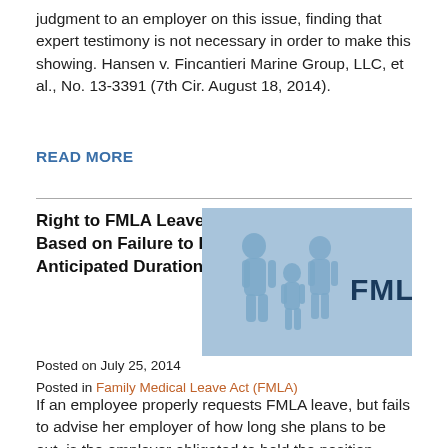judgment to an employer on this issue, finding that expert testimony is not necessary in order to make this showing. Hansen v. Fincantieri Marine Group, LLC, et al., No. 13-3391 (7th Cir. August 18, 2014).
READ MORE
Right to FMLA Leave Not Forfeited Based on Failure to Provide Anticipated Duration
[Figure (illustration): Blue-toned image showing silhouettes of people with 'FMLA' text in bold dark blue on the right side]
Posted on July 25, 2014
Posted in Family Medical Leave Act (FMLA)
If an employee properly requests FMLA leave, but fails to advise her employer of how long she plans to be out, is the employer obligated to hold the position